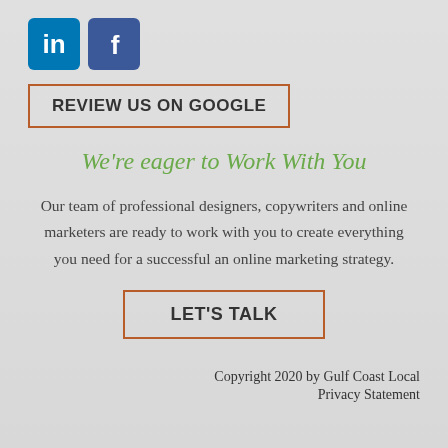[Figure (logo): LinkedIn and Facebook social media icons]
REVIEW US ON GOOGLE
We're eager to Work With You
Our team of professional designers, copywriters and online marketers are ready to work with you to create everything you need for a successful an online marketing strategy.
LET'S TALK
Copyright 2020 by Gulf Coast Local
Privacy Statement